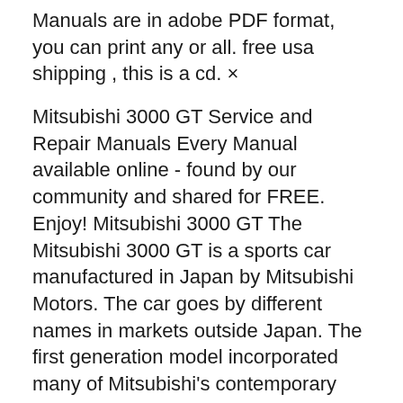Manuals are in adobe PDF format, you can print any or all. free usa shipping , this is a cd. ×
Mitsubishi 3000 GT Service and Repair Manuals Every Manual available online - found by our community and shared for FREE. Enjoy! Mitsubishi 3000 GT The Mitsubishi 3000 GT is a sports car manufactured in Japan by Mitsubishi Motors. The car goes by different names in markets outside Japan. The first generation model incorporated many of Mitsubishi's contemporary performance-enhancing Shop 1991 Dodge Stealth vehicles for sale at Cars.com. Research, compare and save listings, or contact sellers directly from your area with